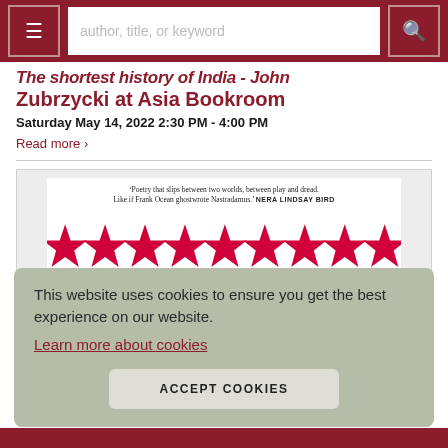author, title, or keyword
The shortest history of India - John Zubrzycki at Asia Bookroom
Saturday May 14, 2022 2:30 PM - 4:00 PM
Read more >
[Figure (photo): Book cover with text: 'Poetry that slips between two worlds, between play and dread. Like if Frank Ocean ghostwrote Nastradamus.' NERA LINDSAY BIRD, and red stars pattern on white background]
This website uses cookies to ensure you get the best experience on our website.
Learn more about cookies
ACCEPT COOKIES